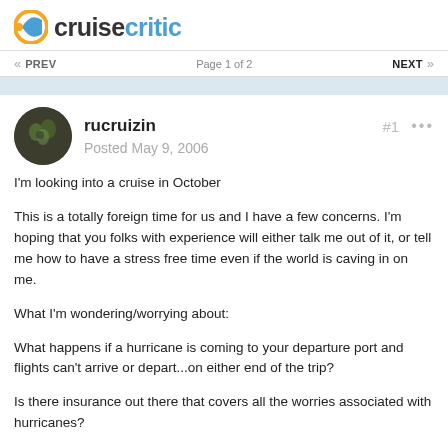cruise critic
« PREV   Page 1 of 2   NEXT »
rucruizin
Posted May 9, 2006
I'm looking into a cruise in October

This is a totally foreign time for us and I have a few concerns. I'm hoping that you folks with experience will either talk me out of it, or tell me how to have a stress free time even if the world is caving in on me.

What I'm wondering/worrying about:

What happens if a hurricane is coming to your departure port and flights can't arrive or depart...on either end of the trip?

Is there insurance out there that covers all the worries associated with hurricanes?